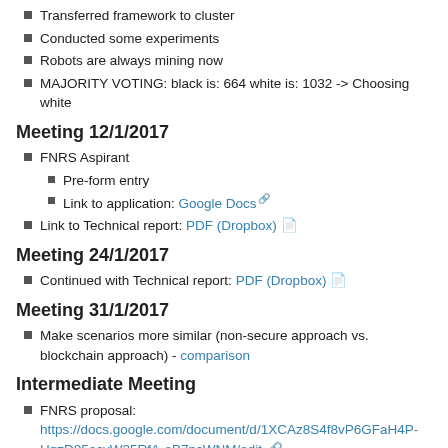Transferred framework to cluster
Conducted some experiments
Robots are always mining now
MAJORITY VOTING: black is: 664 white is: 1032 -> Choosing white
Meeting 12/1/2017
FNRS Aspirant
Pre-form entry
Link to application: Google Docs
Link to Technical report: PDF (Dropbox)
Meeting 24/1/2017
Continued with Technical report: PDF (Dropbox)
Meeting 31/1/2017
Make scenarios more similar (non-secure approach vs. blockchain approach) - comparison
Intermediate Meeting
FNRS proposal: https://docs.google.com/document/d/1XCAz8S4f8vP6GFaH4P-HqzD05ecvW35RfA-oB7pcWNM/edit
FNRS abstract: https://docs.google.com/document/d/1ZQYwFREb8mcoknzqjYp9RLN-